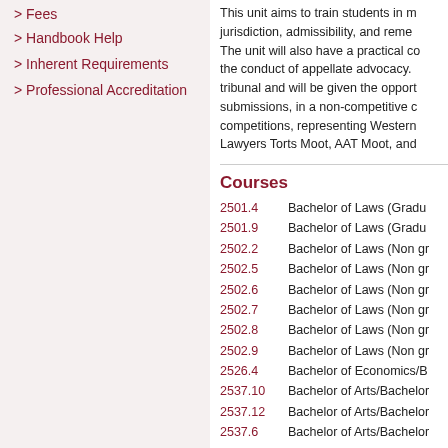> Fees
> Handbook Help
> Inherent Requirements
> Professional Accreditation
This unit aims to train students in m... jurisdiction, admissibility, and reme... The unit will also have a practical co... the conduct of appellate advocacy. ... tribunal and will be given the opport... submissions, in a non-competitive c... competitions, representing Western... Lawyers Torts Moot, AAT Moot, and...
Courses
2501.4   Bachelor of Laws (Gradu...
2501.9   Bachelor of Laws (Gradu...
2502.2   Bachelor of Laws (Non gr...
2502.5   Bachelor of Laws (Non gr...
2502.6   Bachelor of Laws (Non gr...
2502.7   Bachelor of Laws (Non gr...
2502.8   Bachelor of Laws (Non gr...
2502.9   Bachelor of Laws (Non gr...
2526.4   Bachelor of Economics/B...
2537.10  Bachelor of Arts/Bachelor...
2537.12  Bachelor of Arts/Bachelor...
2537.6   Bachelor of Arts/Bachelor...
2537.7   Bachelor of Arts/Bachelor...
2538.10  Bachelor of Social Scien...